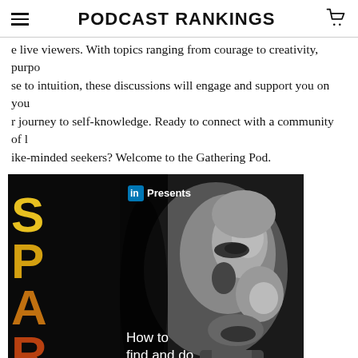PODCAST RANKINGS
e live viewers. With topics ranging from courage to creativity, purpose to intuition, these discussions will engage and support you on your journey to self-knowledge. Ready to connect with a community of like-minded seekers? Welcome to the Gathering Pod.
[Figure (illustration): Podcast cover art for 'SPARKE' presented by LinkedIn. Black and white close-up of a man's face on the right side. Yellow/orange gradient text spelling 'SPARKE' vertically on the left. White text reads 'LinkedIn Presents' at top and 'How to find and do work that makes you come alive' with a yellow play arrow at the bottom.]